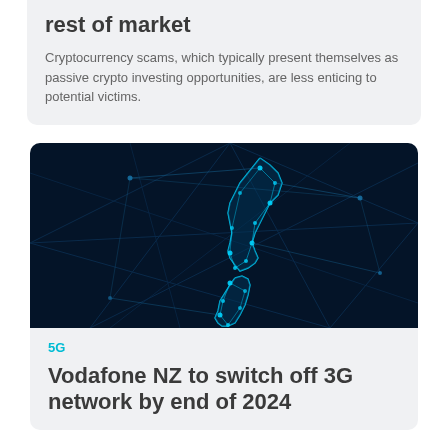rest of market
Cryptocurrency scams, which typically present themselves as passive crypto investing opportunities, are less enticing to potential victims.
[Figure (illustration): Dark blue background with a glowing cyan network/constellation map outline of New Zealand, with lines connecting illuminated node points across the country shape.]
5G
Vodafone NZ to switch off 3G network by end of 2024